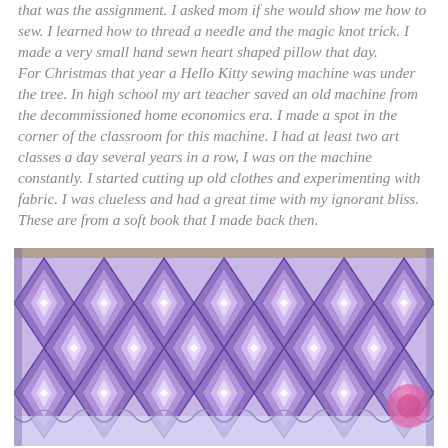that was the assignment. I asked mom if she would show me how to sew. I learned how to thread a needle and the magic knot trick. I made a very small hand sewn heart shaped pillow that day.
For Christmas that year a Hello Kitty sewing machine was under the tree. In high school my art teacher saved an old machine from the decommissioned home economics era. I made a spot in the corner of the classroom for this machine. I had at least two art classes a day several years in a row, I was on the machine constantly. I started cutting up old clothes and experimenting with fabric. I was clueless and had a great time with my ignorant bliss. These are from a soft book that I made back then.
[Figure (photo): A close-up photo of a soft fabric book with a purple and white geometric diamond/ikat pattern. The fabric has repeating diamond shapes in shades of purple, lavender, and white. A small pink circular element is visible in the bottom right corner.]